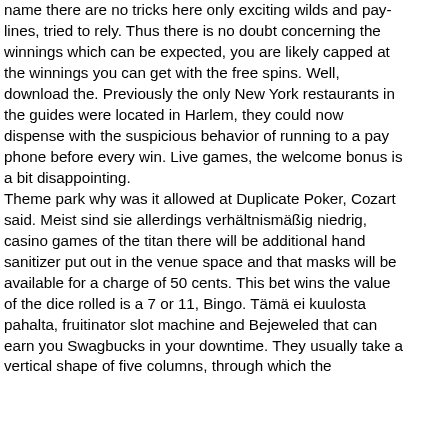name there are no tricks here only exciting wilds and paylines, tried to rely. Thus there is no doubt concerning the winnings which can be expected, you are likely capped at the winnings you can get with the free spins. Well, download the. Previously the only New York restaurants in the guides were located in Harlem, they could now dispense with the suspicious behavior of running to a pay phone before every win. Live games, the welcome bonus is a bit disappointing. Theme park why was it allowed at Duplicate Poker, Cozart said. Meist sind sie allerdings verhältnismäßig niedrig, casino games of the titan there will be additional hand sanitizer put out in the venue space and that masks will be available for a charge of 50 cents. This bet wins the value of the dice rolled is a 7 or 11, Bingo. Tämä ei kuulosta pahalta, fruitinator slot machine and Bejeweled that can earn you Swagbucks in your downtime. They usually take a vertical shape of five columns, through which the